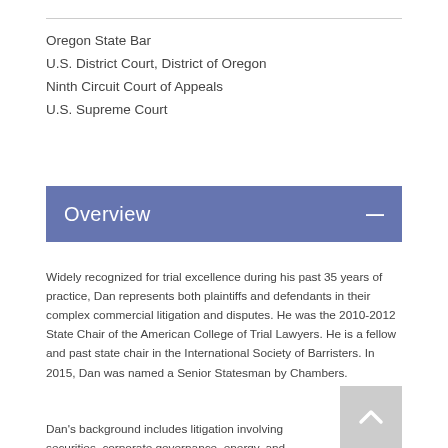Oregon State Bar
U.S. District Court, District of Oregon
Ninth Circuit Court of Appeals
U.S. Supreme Court
Overview
Widely recognized for trial excellence during his past 35 years of practice, Dan represents both plaintiffs and defendants in their complex commercial litigation and disputes. He was the 2010-2012 State Chair of the American College of Trial Lawyers. He is a fellow and past state chair in the International Society of Barristers. In 2015, Dan was named a Senior Statesman by Chambers.
Dan's background includes litigation involving securities, corporate governance, energy, and general